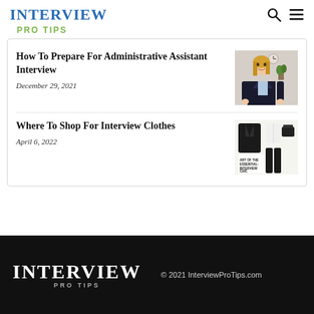INTERVIEW PRO TIPS
How To Prepare For Administrative Assistant Interview
December 29, 2021
[Figure (photo): Professional woman in business attire near a whiteboard in an office setting]
Where To Shop For Interview Clothes
April 6, 2022
[Figure (photo): Interview clothing layout - black blazer, white top, black pants with text ART OF THE ESSENTIAL: INTERVIEW CHIC]
INTERVIEW PRO TIPS © 2021 InterviewProTips.com